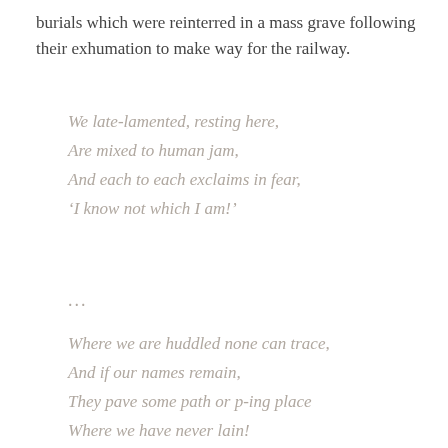burials which were reinterred in a mass grave following their exhumation to make way for the railway.
We late-lamented, resting here,
Are mixed to human jam,
And each to each exclaims in fear,
'I know not which I am!'
...
Where we are huddled none can trace,
And if our names remain,
They pave some path or p-ing place
Where we have never lain!